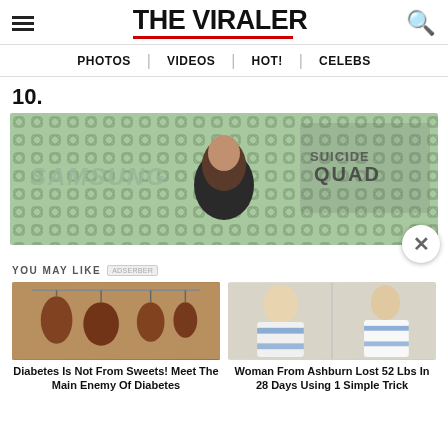THE VIRALER
PHOTOS | VIDEOS | HOT! | CELEBS
10.
[Figure (photo): Samsung Suicide Squad promotional backdrop with a woman standing in front of it]
YOU MAY LIKE
[Figure (photo): Dried meats hanging on a line - advertisement image for diabetes article]
Diabetes Is Not From Sweets! Meet The Main Enemy Of Diabetes
[Figure (photo): Before and after weight loss photos of two women in white dresses]
Woman From Ashburn Lost 52 Lbs In 28 Days Using 1 Simple Trick